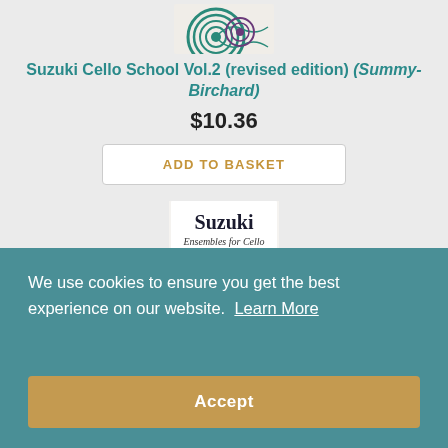[Figure (photo): Top portion of a Suzuki music book cover with circular/wave pattern design in teal and purple]
Suzuki Cello School Vol.2 (revised edition) (Summy-Birchard)
$10.36
ADD TO BASKET
[Figure (photo): Suzuki Ensembles for Cello Volume 2 book cover with decorative cello scroll designs in pink and purple]
We use cookies to ensure you get the best experience on our website. Learn More
Accept